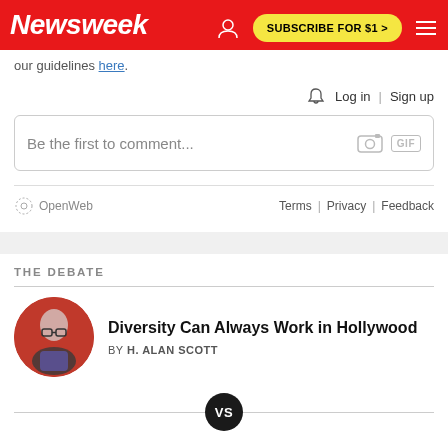Newsweek | SUBSCRIBE FOR $1 >
our guidelines here.
Log in | Sign up
Be the first to comment...
Terms | Privacy | Feedback
THE DEBATE
Diversity Can Always Work in Hollywood
BY H. ALAN SCOTT
VS